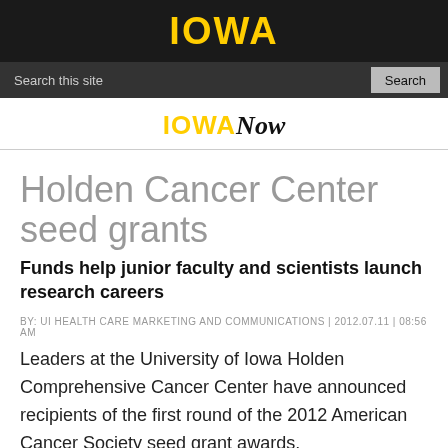IOWA
Search this site | Search
IOWANow
Holden Cancer Center seed grants
Funds help junior faculty and scientists launch research careers
BY: UI HEALTH CARE MARKETING AND COMMUNICATIONS | 2012.07.11 | 08:56 AM
Leaders at the University of Iowa Holden Comprehensive Cancer Center have announced recipients of the first round of the 2012 American Cancer Society seed grant awards.